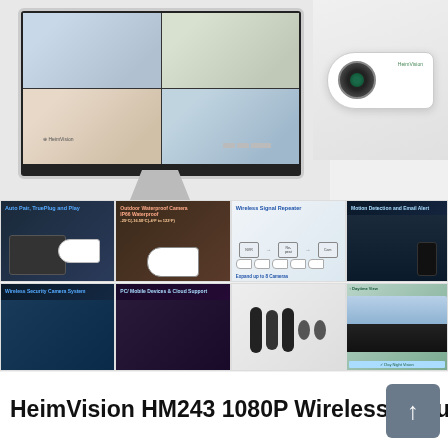[Figure (photo): Product photo collage of HeimVision HM243 wireless security camera system. Top section shows a monitor/NVR with 4-camera grid display and a standalone outdoor bullet camera. Middle row shows feature panels: Auto Pair TruePlugAndPlay, Outdoor Waterproof Camera IP66 Waterproof, Wireless Signal Repeater diagram, Expand up to 8 Cameras, Motion Detection and Email Alert. Bottom row shows: Wireless Security Camera System overhead view, PC/Mobile Devices & Cloud Support, camera lineup photo, day/night house photo.]
HeimVision HM243 1080P Wireless Security